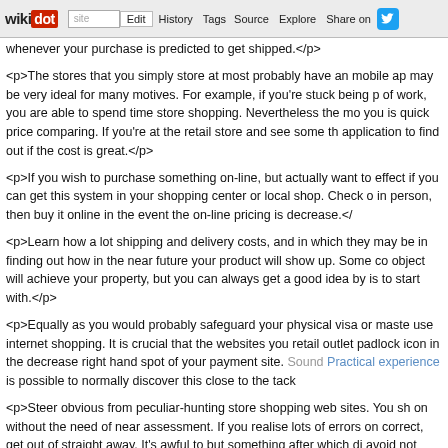wikidot | site | Edit | History | Tags | Source | Explore | Share on [Twitter]
whenever your purchase is predicted to get shipped.</p>
<p>The stores that you simply store at most probably have an mobile app may be very ideal for many motives. For example, if you're stuck being p of work, you are able to spend time store shopping. Nevertheless the mo you is quick price comparing. If you're at the retail store and see some th application to find out if the cost is great.</p>
<p>If you wish to purchase something on-line, but actually want to effect if you can get this system in your shopping center or local shop. Check o in person, then buy it online in the event the on-line pricing is decrease.</
<p>Learn how a lot shipping and delivery costs, and in which they may be in finding out how in the near future your product will show up. Some co object will achieve your property, but you can always get a good idea by is to start with.</p>
<p>Equally as you would probably safeguard your physical visa or maste use internet shopping. It is crucial that the websites you retail outlet padlock icon in the decrease right hand spot of your payment site. Sound Practical experience is possible to normally discover this close to the tack
<p>Steer obvious from peculiar-hunting store shopping web sites. You sh on without the need of near assessment. If you realise lots of errors on correct, get out of straight away. It's awful to but something after which di avoid not professional websites and become smart.</p>
<p>Shopping on the internet is a marvellous thing in that this really does necessary, even though, to learn several tricks and tips well before strikin If you is the info that is possible to use and be a smarter online shopper.